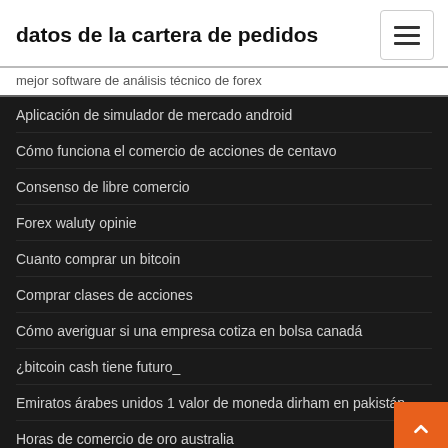datos de la cartera de pedidos
mejor software de análisis técnico de forex
Aplicación de simulador de mercado android
Cómo funciona el comercio de acciones de centavo
Consenso de libre comercio
Forex waluty opinie
Cuanto comprar un bitcoin
Comprar clases de acciones
Cómo averiguar si una empresa cotiza en bolsa canadá
¿bitcoin cash tiene futuro_
Emiratos árabes unidos 1 valor de moneda dirham en pakistán
Horas de comercio de oro australia